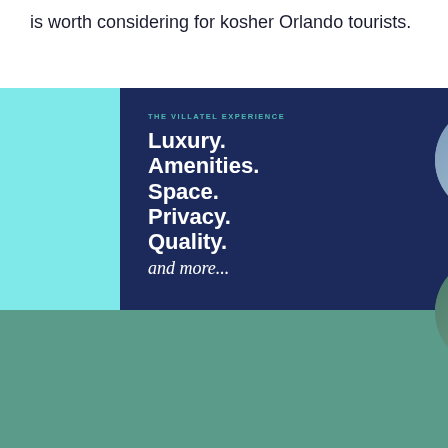is worth considering for kosher Orlando tourists.
[Figure (screenshot): Villatel advertisement banner showing 'THE VILLATEL EXPERIENCE' with headline 'Luxury. Amenities. Space. Privacy. Quality. and more...' alongside four circular images: Themed Bedrooms, Arcade Room, Private Pool, Movie Theatre. Background is cyan/light blue with dark navy panel on left.]
Villatel uses cookies. By using this site, you agree to our privacy policy. ACCEPT